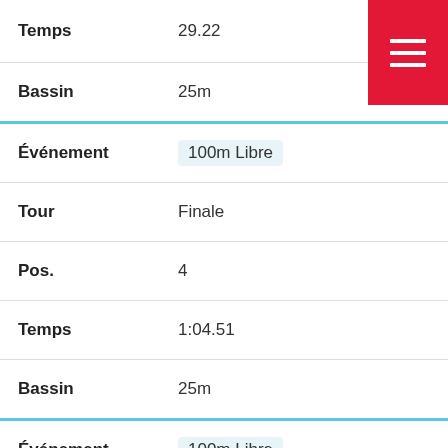| Label | Value |
| --- | --- |
| Temps | 29.22 |
| Bassin | 25m |
| Événement | 100m Libre |
| Tour | Finale |
| Pos. | 4 |
| Temps | 1:04.51 |
| Bassin | 25m |
| Événement | 100m Libre |
| Tour | Éliminatoire |